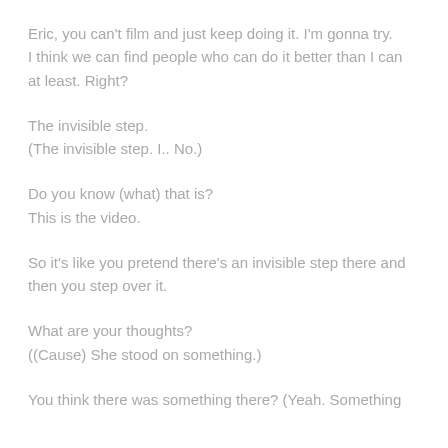Eric, you can't film and just keep doing it. I'm gonna try. I think we can find people who can do it better than I can at least. Right?
The invisible step.
(The invisible step. I.. No.)
Do you know (what) that is?
This is the video.
So it's like you pretend there's an invisible step there and then you step over it.
What are your thoughts?
((Cause) She stood on something.)
You think there was something there? (Yeah. Something